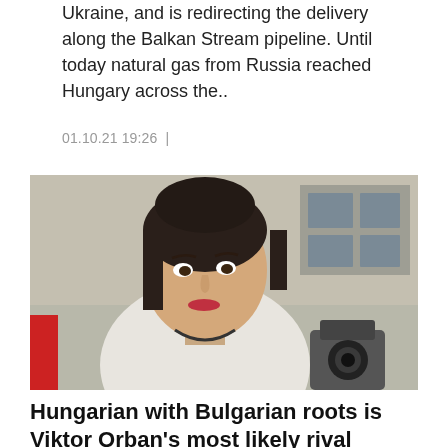Ukraine, and is redirecting the delivery along the Balkan Stream pipeline. Until today natural gas from Russia reached Hungary across the..
01.10.21 19:26 |
[Figure (photo): A woman with short dark hair wearing a white blazer and a dark necklace, looking upward to the right. A person holding a camera is visible behind her right shoulder. A red flag is partially visible on the left. The background shows a building facade with windows.]
Hungarian with Bulgarian roots is Viktor Orban's most likely rival